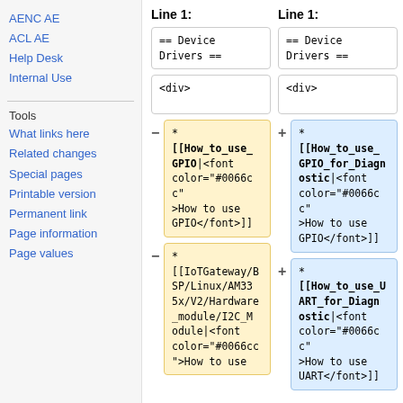AENC AE
ACL AE
Help Desk
Internal Use
Tools
What links here
Related changes
Special pages
Printable version
Permanent link
Page information
Page values
Line 1: (left column header)
Line 1: (right column header)
== Device Drivers ==
== Device Drivers ==
<div>
<div>
* [[How_to_use_GPIO|<font color="#0066cc">How to use GPIO</font>]]
* [[How_to_use_GPIO_for_Diagnostic|<font color="#0066cc">How to use GPIO</font>]]
* [[IoTGateway/BSP/Linux/AM335x/V2/Hardware_module/I2C_Module|<font color="#0066cc">How to use
* [[How_to_use_UART_for_Diagnostic|<font color="#0066cc">How to use UART</font>]]